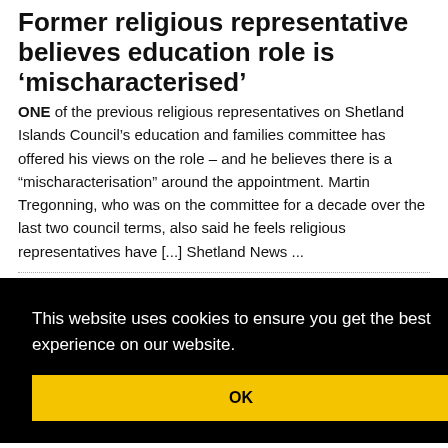Former religious representative believes education role is 'mischaracterised'
ONE of the previous religious representatives on Shetland Islands Council's education and families committee has offered his views on the role – and he believes there is a "mischaracterisation" around the appointment. Martin Tregonning, who was on the committee for a decade over the last two council terms, also said he feels religious representatives have [...] Shetland News ...
[Figure (photo): Partially visible photograph, appears to show a microphone or similar object against a dark background]
This website uses cookies to ensure you get the best experience on our website.
OK
[Figure (logo): reCAPTCHA logo with circular arrows icon and 'Privacy · Terms' text]
I watched with interest the discussion last week over the role